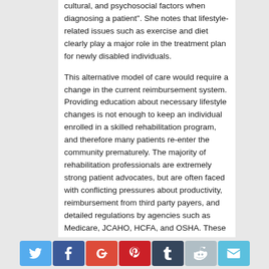cultural, and psychosocial factors when diagnosing a patient". She notes that lifestyle-related issues such as exercise and diet clearly play a major role in the treatment plan for newly disabled individuals.
This alternative model of care would require a change in the current reimbursement system. Providing education about necessary lifestyle changes is not enough to keep an individual enrolled in a skilled rehabilitation program, and therefore many patients re-enter the community prematurely. The majority of rehabilitation professionals are extremely strong patient advocates, but are often faced with conflicting pressures about productivity, reimbursement from third party payers, and detailed regulations by agencies such as Medicare, JCAHO, HCFA, and OSHA. These governing bodies serve as watchdogs to the medical industry to
Social share bar with Twitter, Facebook, Google+, Pinterest, Tumblr, Reddit, Email buttons